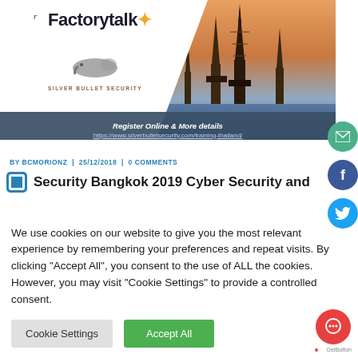[Figure (screenshot): Banner with Factorytalk logo, Silver Bullet Security logo on white panel left, Bangkok temple photo on right, with dark blue register bar at bottom showing URL and phone number]
BY BCMORIONZ  |  25/12/2018  |  0 COMMENTS
Security Bangkok 2019 Cyber Security and
We use cookies on our website to give you the most relevant experience by remembering your preferences and repeat visits. By clicking "Accept All", you consent to the use of ALL the cookies. However, you may visit "Cookie Settings" to provide a controlled consent.
Cookie Settings  Accept All